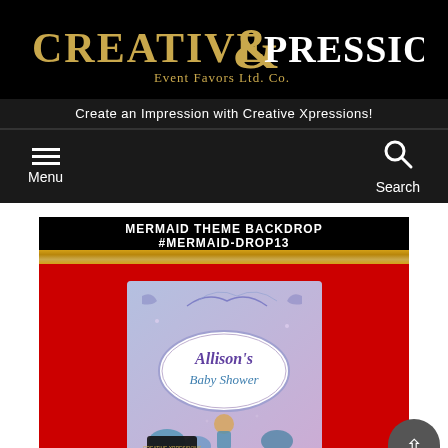[Figure (logo): Creative Xpressions Event Favors Ltd. Co. logo with gold and white lettering on black background]
Create an Impression with Creative Xpressions!
Menu | Search navigation bar
[Figure (photo): Mermaid theme backdrop product image showing 'Allison's Baby Shower' custom backdrop with purple/blue mermaid design, displayed on red background. Title bar reads: MERMAID THEME BACKDROP #MERMAID-DROP13]